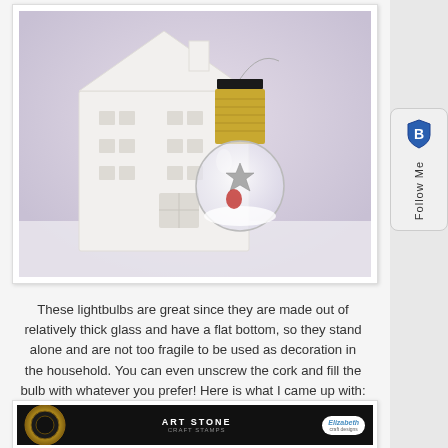[Figure (photo): A white ceramic house lantern next to a decorative glass lightbulb filled with small ornaments including a silver star, displayed on a white surface against a light purple/lavender background.]
These lightbulbs are great since they are made out of relatively thick glass and have a flat bottom, so they stand alone and are not too fragile to be used as decoration in the household. You can even unscrew the cork and fill the bulb with whatever you prefer! Here is what I came up with:
[Figure (photo): Bottom portion of image showing a gold coiled lightbulb base on the left, a black cylindrical container labeled 'Art Stone' in the center, and an Elizabeth craft stamp logo badge on the right, against a dark background.]